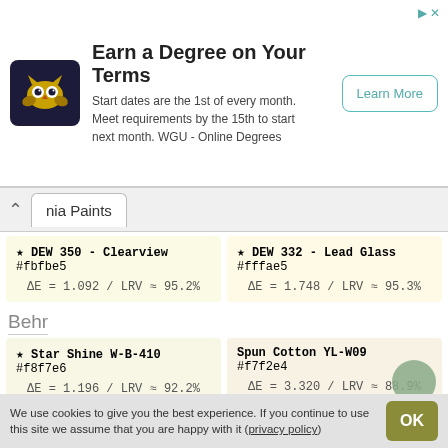[Figure (screenshot): WGU advertisement banner: owl logo, 'Earn a Degree on Your Terms' headline, descriptive text about start dates, and a Learn More button]
nia Paints
| Color 1 | Color 2 |
| --- | --- |
| ★ DEW 350 - Clearview
#fbfbe5
ΔE = 1.092 / LRV ≈ 95.2% | ★ DEW 332 - Lead Glass
#fffae5
ΔE = 1.748 / LRV ≈ 95.3% |
Behr
| Color 1 | Color 2 |
| --- | --- |
| ★ Star Shine W-B-410
#f8f7e6
ΔE = 1.196 / LRV ≈ 92.2% | Spun Cotton YL-W09
#f7f2e4
ΔE = 3.320 / LRV ≈ 88.9% |
Kelly-Moore
| Color 1 | Color 2 |
| --- | --- |
| ★ Little Flower / OW238-1
#faf7e6 | Crisp Linen / KM908-L
#f4f0df |
We use cookies to give you the best experience. If you continue to use this site we assume that you are happy with it (privacy policy)